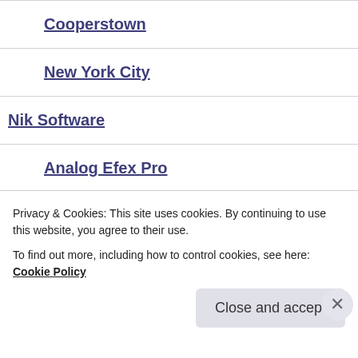Cooperstown
New York City
Nik Software
Analog Efex Pro
Analog Efex Pro 2
Color Efex Pro 4
Privacy & Cookies: This site uses cookies. By continuing to use this website, you agree to their use.
To find out more, including how to control cookies, see here: Cookie Policy